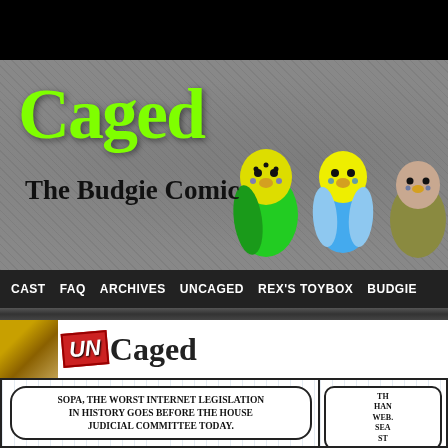[Figure (illustration): Website header banner with gray textured background showing the 'Caged - The Budgie Comic' logo in green handwritten font, with illustrated budgie birds (green, blue, and olive/brown) on the right side.]
Caged
The Budgie Comic
CAST  FAQ  ARCHIVES  UNCAGED  REX'S TOYBOX  BUDGIE
[Figure (illustration): UNcaged comic strip section header with a photo of a budgie cere on the left, a red stamp reading 'UN' overlaid on the word 'Caged' in handwritten font.]
[Figure (illustration): Comic strip panel with striped background showing a speech bubble reading: SOPA, THE WORST INTERNET LEGISLATION IN HISTORY GOES BEFORE THE HOUSE JUDICIAL COMMITTEE TODAY.]
[Figure (illustration): Partially visible second comic panel on the right with striped background and partial speech bubble text starting with TH, HAN, WEB, SEA, ST.]